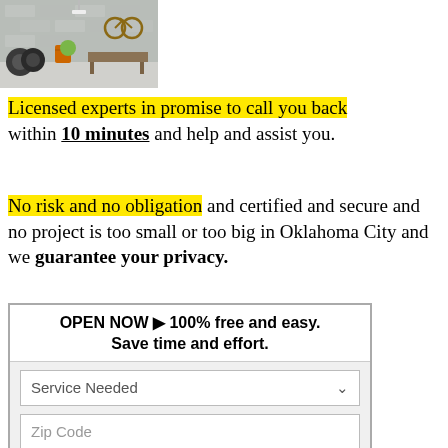[Figure (photo): Interior photo of a garage with brick walls, tires, a bicycle hanging on the wall, orange barrel, and various items]
Licensed experts in promise to call you back within 10 minutes and help and assist you.
No risk and no obligation and certified and secure and no project is too small or too big in Oklahoma City and we guarantee your privacy.
OPEN NOW ▶ 100% free and easy. Save time and effort.
Service Needed
Zip Code
First Name
Last Name
Phone